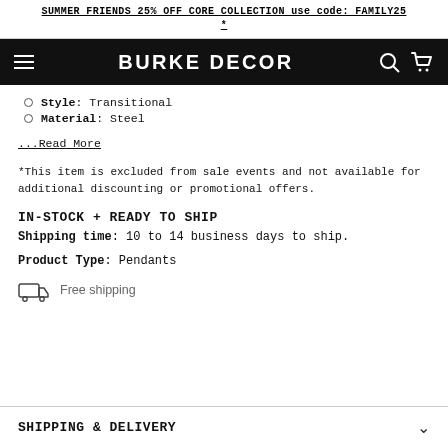SUMMER FRIENDS 25% OFF CORE COLLECTION use code: FAMILY25 *
BURKE DECOR
Style: Transitional
Material: Steel
...Read More
*This item is excluded from sale events and not available for additional discounting or promotional offers.
IN-STOCK + READY TO SHIP
Shipping time: 10 to 14 business days to ship.
Product Type: Pendants
Free shipping
SHIPPING & DELIVERY